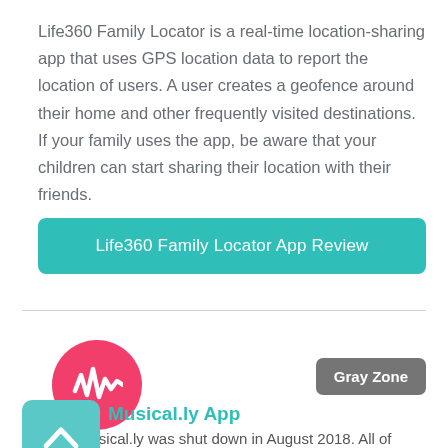Life360 Family Locator is a real-time location-sharing app that uses GPS location data to report the location of users. A user creates a geofence around their home and other frequently visited destinations. If your family uses the app, be aware that your children can start sharing their location with their friends.
Life360 Family Locator App Review
[Figure (logo): Musical.ly app icon — pink/red circle with white waveform icon]
Gray Zone
[Figure (logo): Musical.ly square teal app icon with white house/chevron shape]
Musical.ly App
Note: Musical.ly was shut down in August 2018. All of